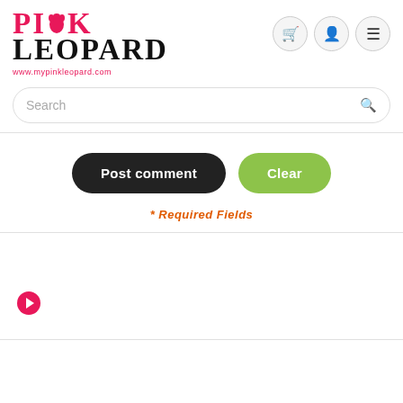[Figure (logo): Pink Leopard logo with pink panther silhouette, text PINK in pink and LEOPARD in black, website www.mypinkleopard.com]
[Figure (screenshot): Navigation icons: shopping cart, user profile, hamburger menu — three circular icon buttons in top right]
[Figure (screenshot): Search bar with placeholder text Search and magnifying glass icon]
Post comment
Clear
* Required Fields
[Figure (illustration): Orange arrow circle icon pointing right]